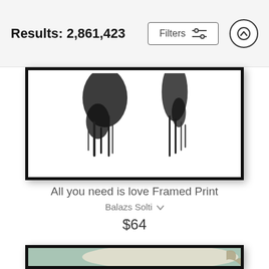Results: 2,861,423
[Figure (screenshot): Filters button with sliders icon and a scroll-up arrow button]
[Figure (photo): Partial framed print showing two dark ink splash/drip figures on white background, in a thick black frame]
All you need is love Framed Print
Balazs Solti
$64
[Figure (photo): Framed vintage-style illustration of a whale on a teal/green background with small figures beneath it, in a thick black frame]